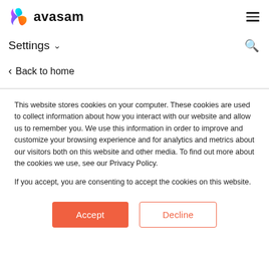avasam
Settings
Back to home
This website stores cookies on your computer. These cookies are used to collect information about how you interact with our website and allow us to remember you. We use this information in order to improve and customize your browsing experience and for analytics and metrics about our visitors both on this website and other media. To find out more about the cookies we use, see our Privacy Policy.
If you accept, you are consenting to accept the cookies on this website.
Accept   Decline